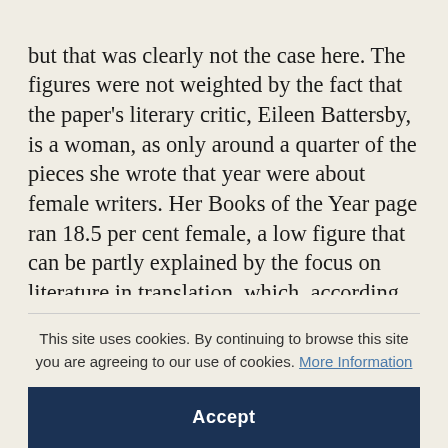but that was clearly not the case here. The figures were not weighted by the fact that the paper's literary critic, Eileen Battersby, is a woman, as only around a quarter of the pieces she wrote that year were about female writers. Her Books of the Year page ran 18.5 per cent female, a low figure that can be partly explained by the focus on literature in translation, which, according to Rachel McNicholl of Women in Translation, is three-quarters male. The most distinctive thing, to my mind, is the pattern of gender interaction. Of
This site uses cookies. By continuing to browse this site you are agreeing to our use of cookies. More Information
Accept